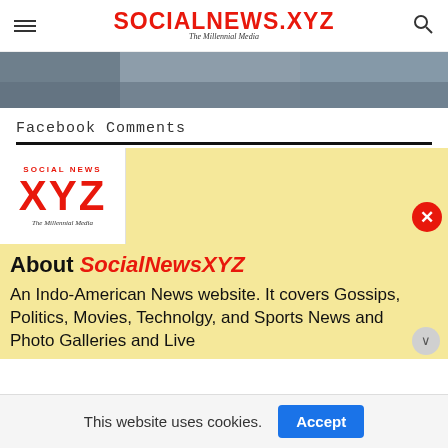SOCIALNEWS.XYZ — The Millennial Media
[Figure (photo): Partial image strip at top of article page showing people in a store or indoor setting]
Facebook Comments
[Figure (logo): SocialNewsXYZ logo in red on white background with tagline 'The Millennial Media']
About SocialNewsXYZ
An Indo-American News website. It covers Gossips, Politics, Movies, Technolgy, and Sports News and Photo Galleries and Live
This website uses cookies.
Accept